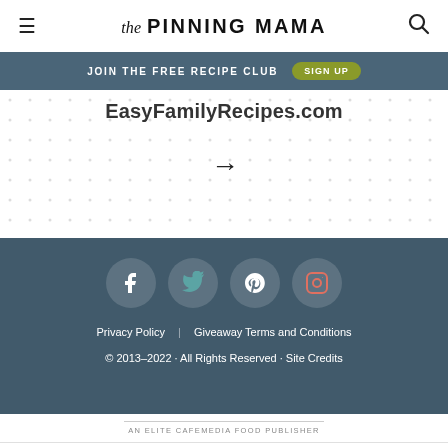The Pinning Mama
JOIN THE FREE RECIPE CLUB  SIGN UP
EasyFamilyRecipes.com
→
[Figure (other): Social media icons: Facebook, Twitter, Pinterest, Instagram in circular white buttons on dark teal background]
Privacy Policy   Giveaway Terms and Conditions
© 2013–2022 · All Rights Reserved · Site Credits
AN ELITE CAFEMEDIA FOOD PUBLISHER